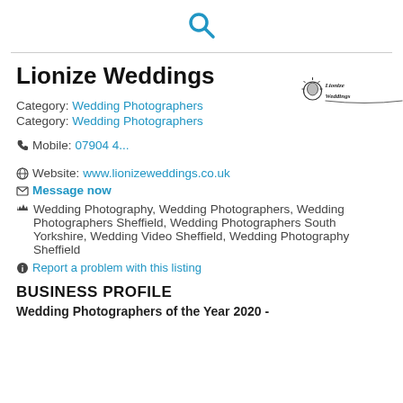Search icon
Lionize Weddings
Category: Wedding Photographers
Category: Wedding Photographers
[Figure (logo): Lionize Weddings logo in cursive script]
Mobile: 07904 4...
Website: www.lionizeweddings.co.uk
Message now
Wedding Photography, Wedding Photographers, Wedding Photographers Sheffield, Wedding Photographers South Yorkshire, Wedding Video Sheffield, Wedding Photography Sheffield
Report a problem with this listing
BUSINESS PROFILE
Wedding Photographers of the Year 2020 -